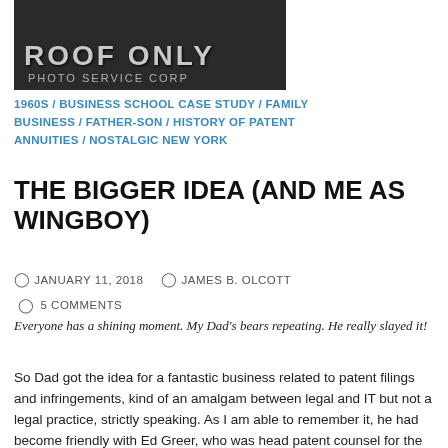[Figure (photo): Dark photograph showing text 'ROOF ONLY' and 'PHOTO SERVICE CORP' in light colored letters on a dark background]
1960S / BUSINESS SCHOOL CASE STUDY / FAMILY BUSINESS / FATHER-SON / HISTORY OF PATENT ANNUITIES / NOSTALGIC NEW YORK
THE BIGGER IDEA (AND ME AS WINGBOY)
JANUARY 11, 2018   JAMES B. OLCOTT
5 COMMENTS
Everyone has a shining moment. My Dad's bears repeating. He really slayed it!
So Dad got the idea for a fantastic business related to patent filings and infringements, kind of an amalgam between legal and IT but not a legal practice, strictly speaking. As I am able to remember it, he had become friendly with Ed Greer, who was head patent counsel for the Union Carbide Corporation. Union Carbide was one of the biggest chemical corporations of the